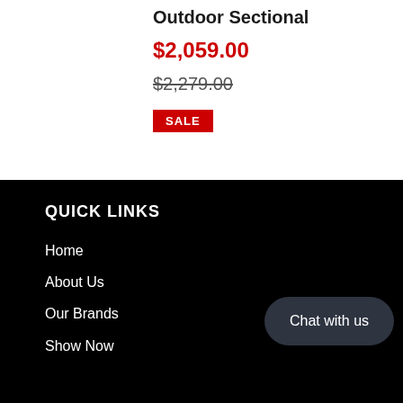Outdoor Sectional
$2,059.00
$2,279.00
SALE
QUICK LINKS
Home
About Us
Our Brands
Show Now
Chat with us